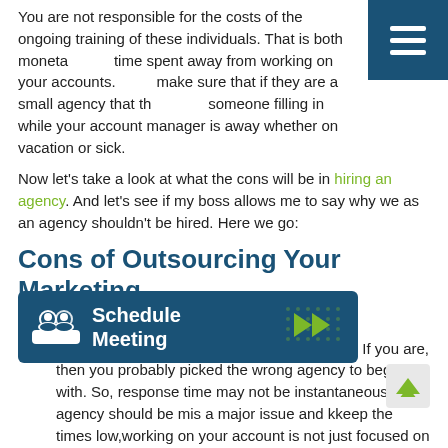You are not responsible for the costs of the ongoing training of these individuals. That is both monetary and time spent away from working on your accounts. Also, make sure that if they are a small agency that they have someone filling in while your account manager is away whether on vacation or sick.
Now let’s take a look at what the cons will be in hiring an agency. And let’s see if my boss allows me to say why we as an agency shouldn’t be hired. Here we go:
Cons of Outsourcing Your Marketing
Not the only one: Yes, you will not be the client the agency has. If you are, then you probably picked the wrong agency to begin with. So, response time may not be instantaneous. The agency should be mindful that response time is a major issue and keep the response times low, the person working on your account is not just focused on your account.
[Figure (other): Schedule Meeting banner with icon and green arrow chevrons on dark teal background]
[Figure (other): Scroll-to-top button with green chevron arrow on grey background]
[Figure (other): Hamburger menu icon (three white lines) on dark teal square background in top right corner]